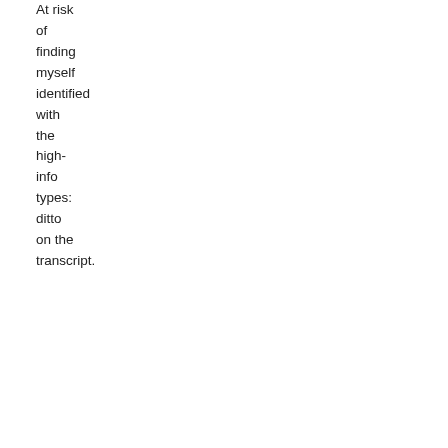At risk of finding myself identified with the high-info types: ditto on the transcript.
Posted by: JoePeac | Nov 28, 2012 7:07:52 PM
At risk of finding myself identified with the low-